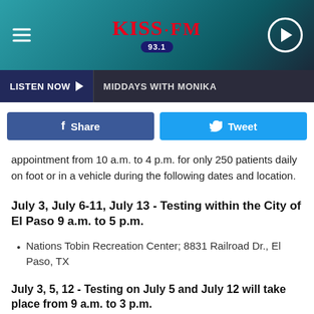[Figure (logo): KISS FM 93.1 radio station header with teal/dark gradient background, hamburger menu icon on left, KISS FM 93.1 logo in center, play button on right]
LISTEN NOW ▶  MIDDAYS WITH MONIKA
[Figure (infographic): Two social sharing buttons: Facebook Share (blue) and Twitter Tweet (light blue)]
appointment from 10 a.m. to 4 p.m. for only 250 patients daily on foot or in a vehicle during the following dates and location.
July 3, July 6-11, July 13 - Testing within the City of El Paso 9 a.m. to 5 p.m.
Nations Tobin Recreation Center; 8831 Railroad Dr., El Paso, TX
July 3, 5, 12 - Testing on July 5 and July 12 will take place from 9 a.m. to 3 p.m.